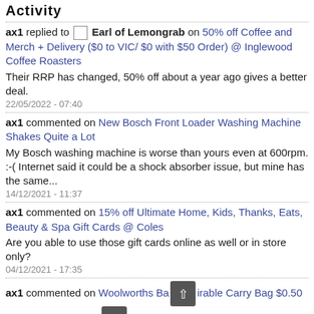Activity
ax1 replied to Earl of Lemongrab on 50% off Coffee and Merch + Delivery ($0 to VIC/ $0 with $50 Order) @ Inglewood Coffee Roasters
Their RRP has changed, 50% off about a year ago gives a better deal.
22/05/2022 - 07:40
ax1 commented on New Bosch Front Loader Washing Machine Shakes Quite a Lot
My Bosch washing machine is worse than yours even at 600rpm. :-( Internet said it could be a shock absorber issue, but mine has the same...
14/12/2021 - 11:37
ax1 commented on 15% off Ultimate Home, Kids, Thanks, Eats, Beauty & Spa Gift Cards @ Coles
Are you able to use those gift cards online as well or in store only?
04/12/2021 - 17:35
ax1 commented on Woolworths Bag for Good Reusable Carry Bag $0.50 (Was $0.99) @ Woolworths
I was waiting for them to drop to 0.10 again...